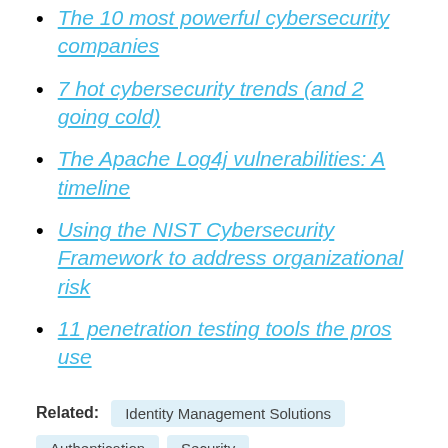The 10 most powerful cybersecurity companies
7 hot cybersecurity trends (and 2 going cold)
The Apache Log4j vulnerabilities: A timeline
Using the NIST Cybersecurity Framework to address organizational risk
11 penetration testing tools the pros use
Related: Identity Management Solutions Authentication Security
Susan Morrow has spent the last 20 years working in cybersecurity and online identity. She focuses on balancing usability vs. security and endeavors to